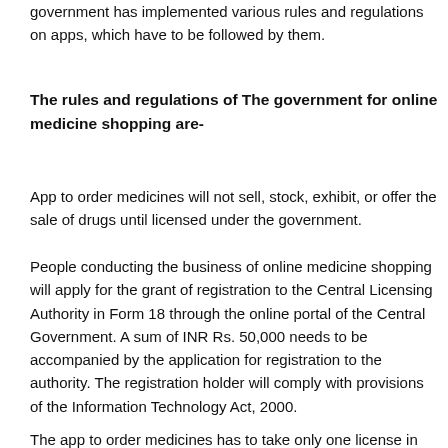government has implemented various rules and regulations on apps, which have to be followed by them.
The rules and regulations of The government for online medicine shopping are-
App to order medicines will not sell, stock, exhibit, or offer the sale of drugs until licensed under the government.
People conducting the business of online medicine shopping will apply for the grant of registration to the Central Licensing Authority in Form 18 through the online portal of the Central Government. A sum of INR Rs. 50,000 needs to be accompanied by the application for registration to the authority. The registration holder will comply with provisions of the Information Technology Act, 2000.
The app to order medicines has to take only one license in any